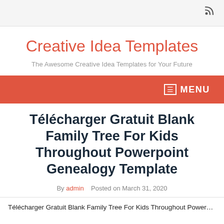Creative Idea Templates
The Awesome Creative Idea Templates for Your Future
MENU
Télécharger Gratuit Blank Family Tree For Kids Throughout Powerpoint Genealogy Template
By admin   Posted on March 31, 2020
Télécharger Gratuit Blank Family Tree For Kids Throughout Powerpoint